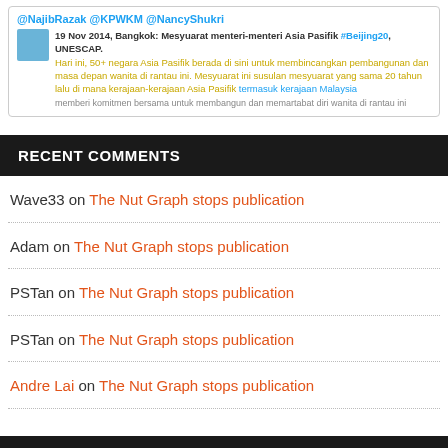[Figure (screenshot): Tweet card showing '@NajibRazak @KPWKM @NancyShukri' in blue header, with a profile avatar and tweet text: '19 Nov 2014, Bangkok: Mesyuarat menteri-menteri Asia Pasifik #Beijing20, UNESCAP. Hari ini, 50+ negara Asia Pasifik berada di sini untuk membincangkan pembangunan dan masa depan wanita di rantau ini. Mesyuarat ini susulan mesyuarat yang sama 20 tahun lalu di mana kerajaan-kerajaan Asia Pasifik termasuk kerajaan Malaysia...' (text cut off)]
RECENT COMMENTS
Wave33 on The Nut Graph stops publication
Adam on The Nut Graph stops publication
PSTan on The Nut Graph stops publication
PSTan on The Nut Graph stops publication
Andre Lai on The Nut Graph stops publication